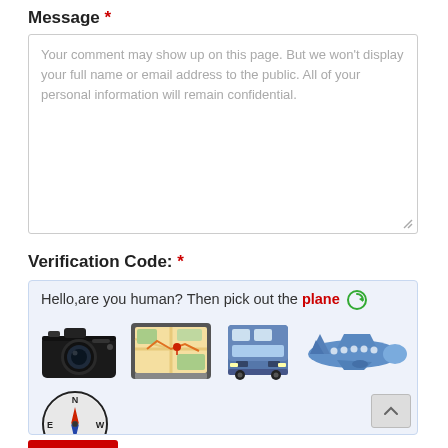Message *
Your comment may show up on this page. But we won't display your full name or email address to the public. All of your personal information will remain confidential.
Verification Code: *
[Figure (screenshot): CAPTCHA widget with prompt 'Hello,are you human? Then pick out the plane' in red, followed by a refresh icon. Below are 5 emoji images: a camera, a GPS/map device, a bus, an airplane, and a compass.]